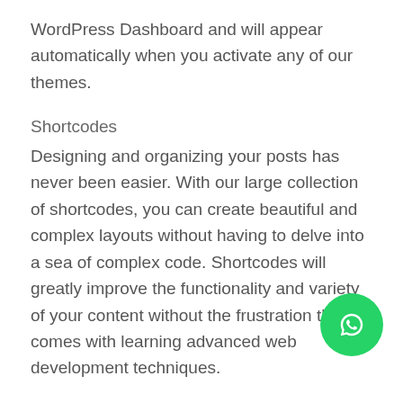WordPress Dashboard and will appear automatically when you activate any of our themes.
Shortcodes
Designing and organizing your posts has never been easier. With our large collection of shortcodes, you can create beautiful and complex layouts without having to delve into a sea of complex code. Shortcodes will greatly improve the functionality and variety of your content without the frustration that comes with learning advanced web development techniques.
Page Templates
Our page templates make your life easier by giving you access to pre-made styles and functions. Each template can be applied to an individual page, transforming the